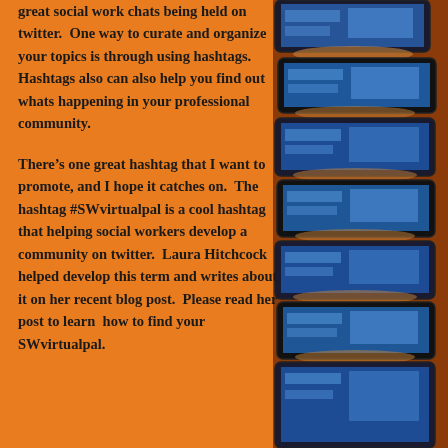great social work chats being held on twitter.  One way to curate and organize your topics is through using hashtags.  Hashtags also can also help you find out whats happening in your professional community.
There's one great hashtag that I want to promote, and I hope it catches on.  The hashtag #SWvirtualpal is a cool hashtag that helping social workers develop a community on twitter.  Laura Hitchcock helped develop this term and writes about it on her recent blog post.  Please read her post to learn  how to find your SWvirtualpal.
[Figure (photo): Repeating vertical strip of tablet computer photos held in hands, arranged as a column of images on the right side of the page against a brick/orange background]